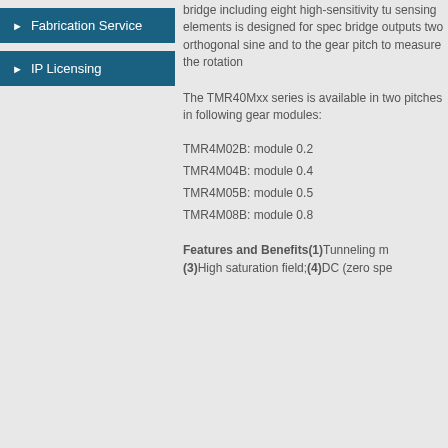Fabrication Service
IP Licensing
bridge including eight high-sensitivity tu sensing elements is designed for spec bridge outputs two orthogonal sine and to the gear pitch to measure the rotation
The TMR40Mxx series is available in two pitches in following gear modules:
TMR4M02B: module 0.2
TMR4M04B: module 0.4
TMR4M05B: module 0.5
TMR4M08B: module 0.8
Features and Benefits (1)Tunneling m (3)High saturation field;(4)DC (zero spe